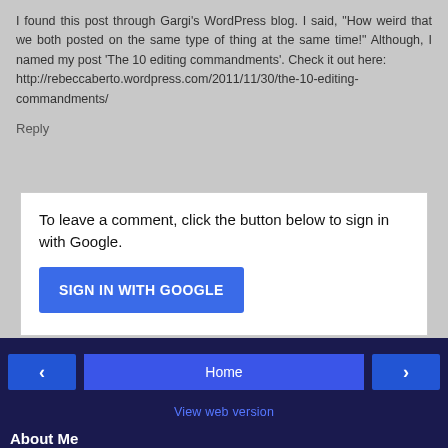I found this post through Gargi's WordPress blog. I said, "How weird that we both posted on the same type of thing at the same time!" Although, I named my post 'The 10 editing commandments'. Check it out here: http://rebeccaberto.wordpress.com/2011/11/30/the-10-editing-commandments/
Reply
To leave a comment, click the button below to sign in with Google.
SIGN IN WITH GOOGLE
‹
Home
›
View web version
About Me